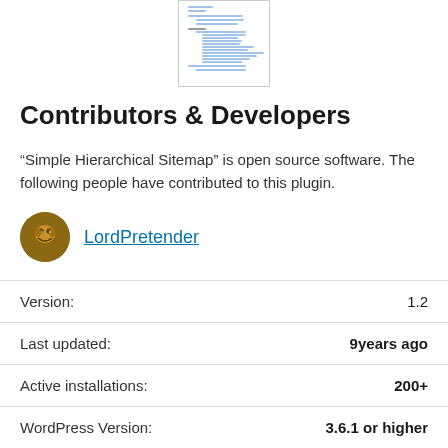[Figure (screenshot): Thumbnail preview of a plugin documentation page with blue link lines]
Contributors & Developers
“Simple Hierarchical Sitemap” is open source software. The following people have contributed to this plugin.
LordPretender
| Property | Value |
| --- | --- |
| Version: | 1.2 |
| Last updated: | 9years ago |
| Active installations: | 200+ |
| WordPress Version: | 3.6.1 or higher |